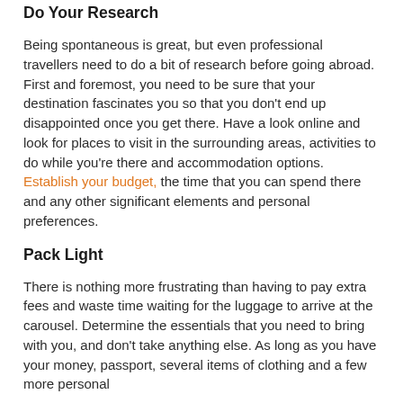Do Your Research
Being spontaneous is great, but even professional travellers need to do a bit of research before going abroad. First and foremost, you need to be sure that your destination fascinates you so that you don't end up disappointed once you get there. Have a look online and look for places to visit in the surrounding areas, activities to do while you're there and accommodation options. Establish your budget, the time that you can spend there and any other significant elements and personal preferences.
Pack Light
There is nothing more frustrating than having to pay extra fees and waste time waiting for the luggage to arrive at the carousel. Determine the essentials that you need to bring with you, and don't take anything else. As long as you have your money, passport, several items of clothing and a few more personal